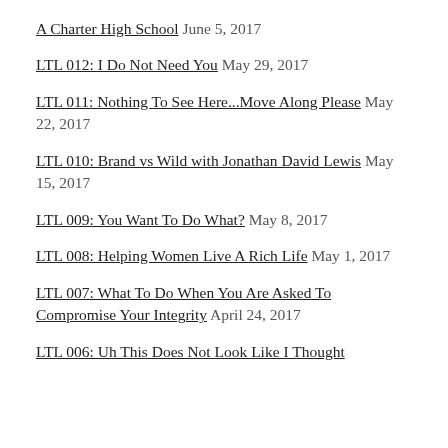A Charter High School June 5, 2017
LTL 012: I Do Not Need You May 29, 2017
LTL 011: Nothing To See Here...Move Along Please May 22, 2017
LTL 010: Brand vs Wild with Jonathan David Lewis May 15, 2017
LTL 009: You Want To Do What? May 8, 2017
LTL 008: Helping Women Live A Rich Life May 1, 2017
LTL 007: What To Do When You Are Asked To Compromise Your Integrity April 24, 2017
LTL 006: Uh This Does Not Look Like I Thought